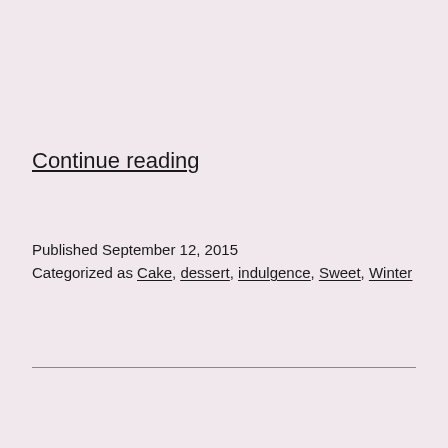Continue reading
Published September 12, 2015
Categorized as Cake, dessert, indulgence, Sweet, Winter